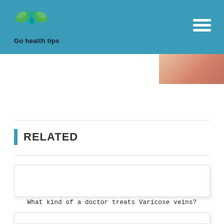Go health tips
[Figure (photo): Partial view of hands/wrist area showing redness, visible in top-right corner of the page]
RELATED
[Figure (photo): White/blank card placeholder image for related article about varicose veins]
What kind of a doctor treats Varicose veins?
[Figure (photo): White/blank card placeholder image for second related article (partially visible)]